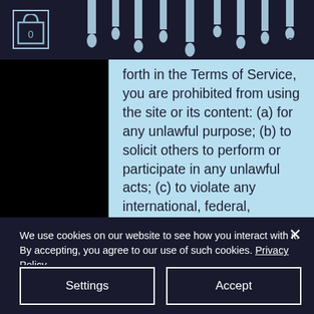[Figure (screenshot): Website header with shopping cart icon showing 0, dark background with dripping paint/water drop decorative elements in light blue/white]
as set forth in the Terms of Service, you are prohibited from using the site or its content: (a) for any unlawful purpose; (b) to solicit others to perform or participate in any unlawful acts; (c) to violate any international, federal, provincial or state regulations, rules, laws, or local ordinances; (d) to infringe upon or violate our intellectual property rights or the intellectual property rights of others; (e) to harass, abuse, insult, harm, defame, slander, disparage, intimidate, or discriminate based on gender, sexual orientation,
We use cookies on our website to see how you interact with it. By accepting, you agree to our use of such cookies. Privacy Policy
Settings
Accept